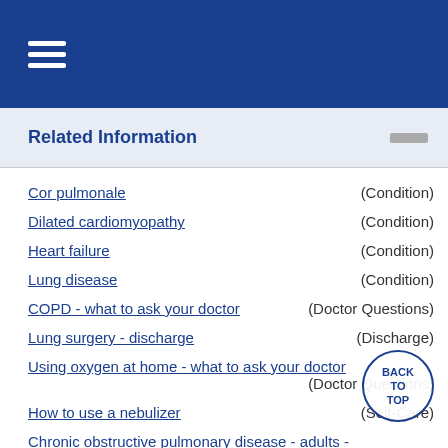≡
Related Information
Cor pulmonale (Condition)
Dilated cardiomyopathy (Condition)
Heart failure (Condition)
Lung disease (Condition)
COPD - what to ask your doctor (Doctor Questions)
Lung surgery - discharge (Discharge)
Using oxygen at home - what to ask your doctor (Doctor Questions)
How to use a nebulizer (Self-Care)
Chronic obstructive pulmonary disease - adults - discharge (Discharge)